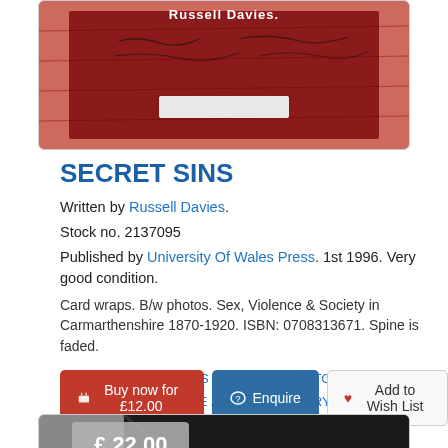[Figure (photo): Top portion of a book cover for 'Secret Sins' by Russell Davies, showing a dark red/maroon cover with handwritten text and a silver spine label.]
SECRET SINS
Written by Russell Davies.
Stock no. 2137095
Published by University Of Wales Press. 1st 1996. Very good condition.
Card wraps. B/w photos. Sex, Violence & Society in Carmarthenshire 1870-1920. ISBN: 0708313671. Spine is faded.
Categorised in: WALES / HISTORY / HISTORY (BRITISH) / CARMARTHENSHIRE / SOCIAL HISTORY
Buy now for £12.00 | Enquire | Add to Wish List
[Figure (photo): Bottom portion of a second book listing showing a price badge of £22.00 and the top of a dark book cover.]